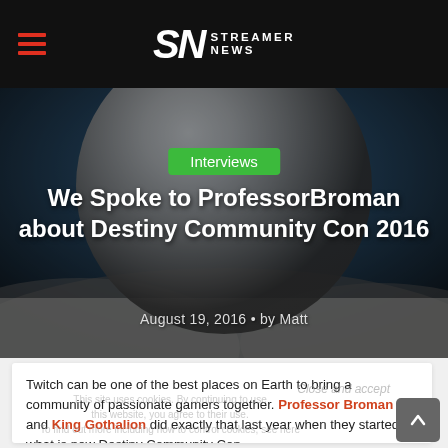Streamer News
[Figure (photo): Hero background image showing a large sphere/globe above a snowy/icy landscape with blue sky, partially overlaid with dark tint]
Interviews
We Spoke to ProfessorBroman about Destiny Community Con 2016
August 19, 2016 • by Matt
Twitch can be one of the best places on Earth to bring a community of passionate gamers together. Professor Broman and King Gothalion did exactly that last year when they started what is now Destiny Community Con.
The two streamers worked closely together in order to create an event that is expecting about 4,000